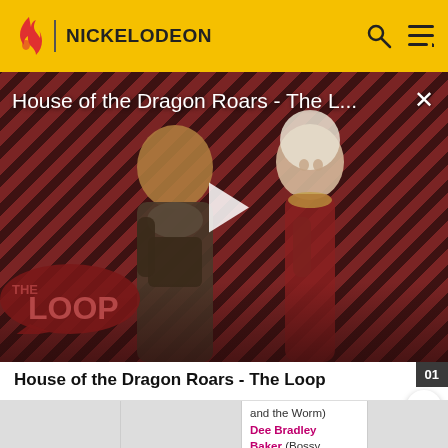NICKELODEON
[Figure (screenshot): Video thumbnail for 'House of the Dragon Roars - The L...' showing two characters against a diagonal striped red and black background with THE LOOP logo overlay and a white play button in the center]
House of the Dragon Roars - The Loop
and the Worm) Dee Bradley Baker (Bossy Boots)